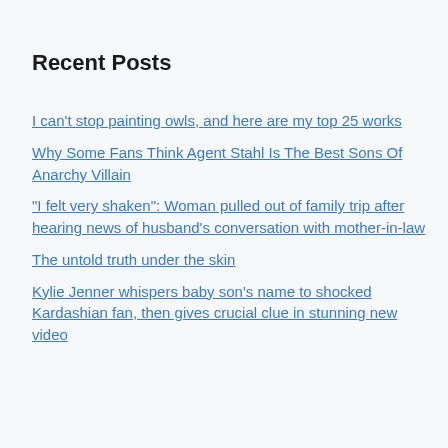Recent Posts
I can’t stop painting owls, and here are my top 25 works
Why Some Fans Think Agent Stahl Is The Best Sons Of Anarchy Villain
“I felt very shaken”: Woman pulled out of family trip after hearing news of husband’s conversation with mother-in-law
The untold truth under the skin
Kylie Jenner whispers baby son’s name to shocked Kardashian fan, then gives crucial clue in stunning new video